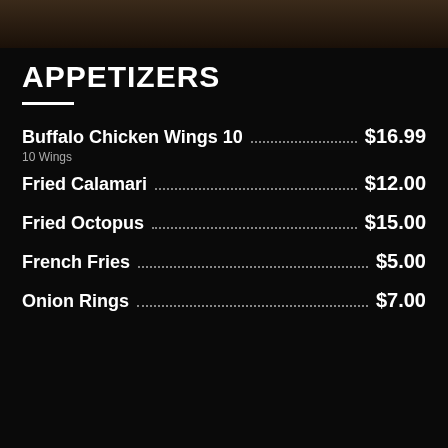[Figure (photo): Dark food photo strip at top of page]
APPETIZERS
Buffalo Chicken Wings 10  $16.99
10 Wings
Fried Calamari  $12.00
Fried Octopus  $15.00
French Fries  $5.00
Onion Rings  $7.00